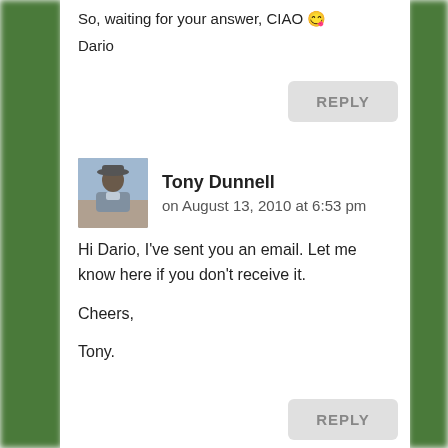So, waiting for your answer, CIAO 😉
Dario
REPLY
Tony Dunnell on August 13, 2010 at 6:53 pm
Hi Dario, I've sent you an email. Let me know here if you don't receive it.

Cheers,

Tony.
REPLY